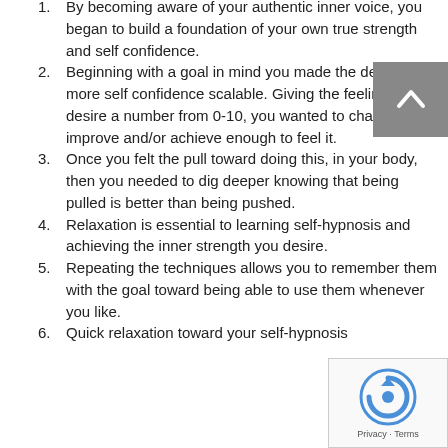By becoming aware of your authentic inner voice, you began to build a foundation of your own true strength and self confidence.
Beginning with a goal in mind you made the desire for more self confidence scalable. Giving the feeling of your desire a number from 0-10, you wanted to change, improve and/or achieve enough to feel it.
Once you felt the pull toward doing this, in your body, then you needed to dig deeper knowing that being pulled is better than being pushed.
Relaxation is essential to learning self-hypnosis and achieving the inner strength you desire.
Repeating the techniques allows you to remember them with the goal toward being able to use them whenever you like.
Quick relaxation toward your self-hypnosis